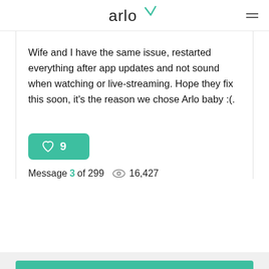arlo
Wife and I have the same issue, restarted everything after app updates and not sound when watching or live-streaming. Hope they fix this soon, it’s the reason we chose Arlo baby :(.
9 likes
Message 3 of 299  16,427